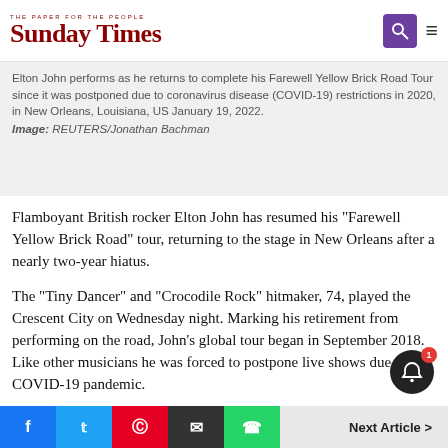The Paper For The People — Sunday Times
Elton John performs as he returns to complete his Farewell Yellow Brick Road Tour since it was postponed due to coronavirus disease (COVID-19) restrictions in 2020, in New Orleans, Louisiana, US January 19, 2022. Image: REUTERS/Jonathan Bachman
Flamboyant British rocker Elton John has resumed his "Farewell Yellow Brick Road" tour, returning to the stage in New Orleans after a nearly two-year hiatus.
The "Tiny Dancer" and "Crocodile Rock" hitmaker, 74, played the Crescent City on Wednesday night. Marking his retirement from performing on the road, John's global tour began in September 2018. Like other musicians he was forced to postpone live shows due to the COVID-19 pandemic.
f  t  p  ✉  ⊕  Next Article >